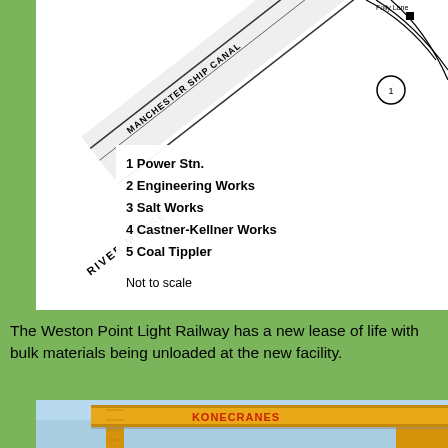[Figure (map): Partial map showing the Manchester Ship Canal and River Mersey area, with a numbered legend listing: 1 Power Stn., 2 Engineering Works, 3 Salt Works, 4 Castner-Kellner Works, 5 Coal Tippler. Note: Not to scale.]
The Weston Point Light Railway has a new lease of life with bulk materials being unloaded at the new facility.
[Figure (photo): Photograph of a large yellow KONECRANES gantry crane structure against a blue sky.]